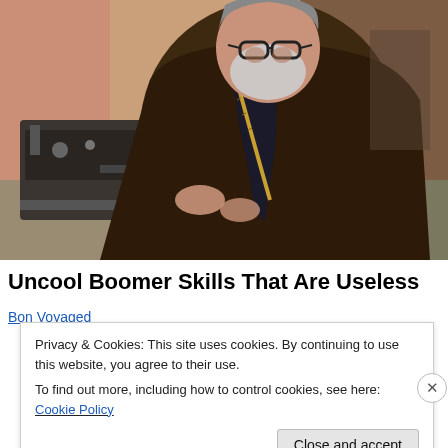[Figure (photo): An elderly bearded man wearing glasses and a tweed jacket, with a measuring tape around his neck, bent over a sewing machine working on red fabric. Workshop or tailor setting in the background.]
Uncool Boomer Skills That Are Useless
Bon Voyaged
Privacy & Cookies: This site uses cookies. By continuing to use this website, you agree to their use.
To find out more, including how to control cookies, see here: Cookie Policy
Close and accept